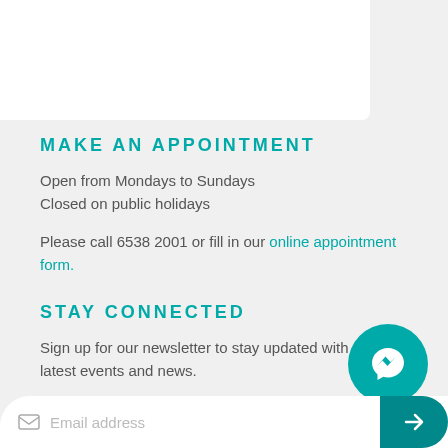MAKE AN APPOINTMENT
Open from Mondays to Sundays
Closed on public holidays
Please call 6538 2001 or fill in our online appointment form.
STAY CONNECTED
Sign up for our newsletter to stay updated with our latest events and news.
[Figure (illustration): Messenger chat bubble icon in teal circle]
Email address